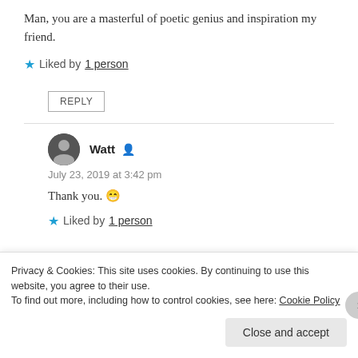Man, you are a masterful of poetic genius and inspiration my friend.
★ Liked by 1 person
REPLY
Watt
July 23, 2019 at 3:42 pm
Thank you. 😁
★ Liked by 1 person
Privacy & Cookies: This site uses cookies. By continuing to use this website, you agree to their use.
To find out more, including how to control cookies, see here: Cookie Policy
Close and accept